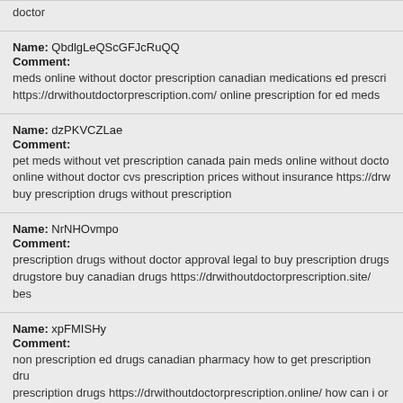doctor
Name: QbdlgLeQScGFJcRuQQ
Comment:
meds online without doctor prescription canadian medications ed prescri... https://drwithoutdoctorprescription.com/ online prescription for ed meds
Name: dzPKVCZLae
Comment:
pet meds without vet prescription canada pain meds online without docto... online without doctor cvs prescription prices without insurance https://drw... buy prescription drugs without prescription
Name: NrNHOvmpo
Comment:
prescription drugs without doctor approval legal to buy prescription drugs... drugstore buy canadian drugs https://drwithoutdoctorprescription.site/ bes...
Name: xpFMISHy
Comment:
non prescription ed drugs canadian pharmacy how to get prescription dru... prescription drugs https://drwithoutdoctorprescription.online/ how can i or... doctor
Name: OHSfDlkoormMwtdL
Comment: